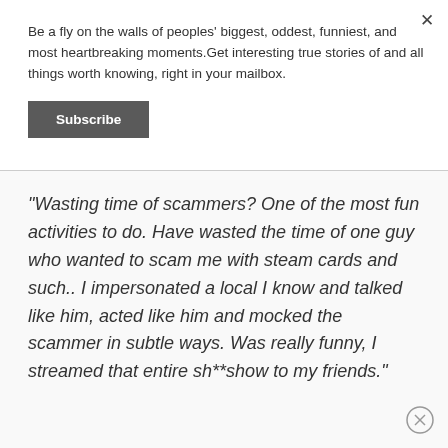Be a fly on the walls of peoples' biggest, oddest, funniest, and most heartbreaking moments.Get interesting true stories of and all things worth knowing, right in your mailbox.
Subscribe
"Wasting time of scammers? One of the most fun activities to do. Have wasted the time of one guy who wanted to scam me with steam cards and such.. I impersonated a local I know and talked like him, acted like him and mocked the scammer in subtle ways. Was really funny, I streamed that entire sh**show to my friends."